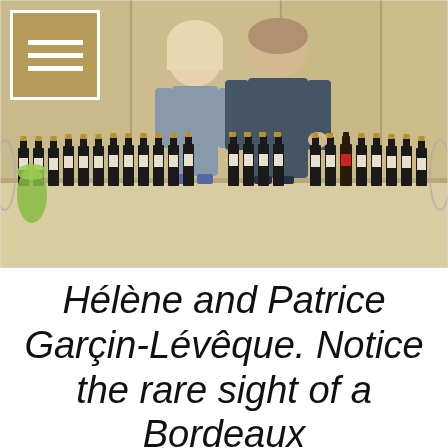[Figure (photo): A man and a woman (Hélène and Patrice Garçin-Lévêque) standing behind a long table lined with many bottles of Bordeaux wine, in an indoor room with wooden cabinet walls. A menu/hamburger icon overlay appears in the upper-left corner.]
Hélène and Patrice Garçin-Lévêque. Notice the rare sight of a Bordeaux